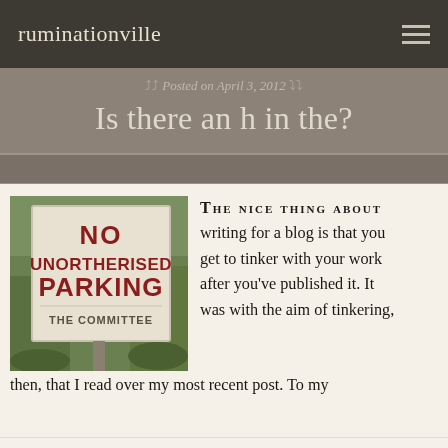ruminationville
Posted on April 3, 2012
Is there an h in the?
[Figure (photo): A sign reading 'NO UNORTHERISED PARKING' with 'THE COMMITTEE' at the bottom, mounted on a post outdoors]
THE NICE THING ABOUT writing for a blog is that you get to tinker with your work after you've published it. It was with the aim of tinkering, then, that I read over my most recent post. To my